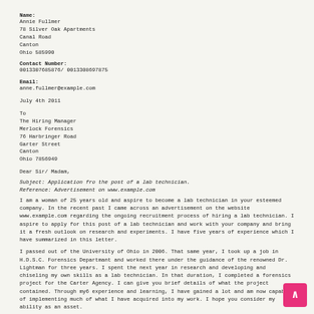Name:
Annie Fullmer
78 Silver Oak Apartments
Canal Road
Canton
Ohio 585990
Contact Number:
0013307685876/ 0013308697875
Email:
anne.fullmer@example.com
July 4th 2011
To
The Hiring Manager
Merlock Forensics
76 Harbringer Road
Garter Street
Canton
Ohio 7856949
Dear Sir/ Madam,
Subject: Application fro the post of a lab technician.
Reference: Advertisement on www.example.com
I am a woman of 25 years old and aspire to become a lab technician in your esteemed company. In the recent past I came across an advertisement on the website www.example.com regarding the ongoing recruitment process of hiring a lab technician. I aspire to apply for this post of a lab technician and work with your company and bring it a fresh outlook on research and experiments. I have five years of experience which I have summarized in this letter.
I passed out of the University of Ohio in 2006. That same year, I took up a job in H.D.S.C. Forensics Departmant and worked there under the guidance of the renowned Dr. Lightman for three years. I spent the next year in research and developing and chiseling my own skills as a lab technician. In that duration, I completed a forensics project for the Carter Agency. I can give you brief details of what the project contained. Through my6 experience and learning, I have gained a lot and am now capable of implementing much of what I have acquired into my work. I hope you consider my ability as an asset.